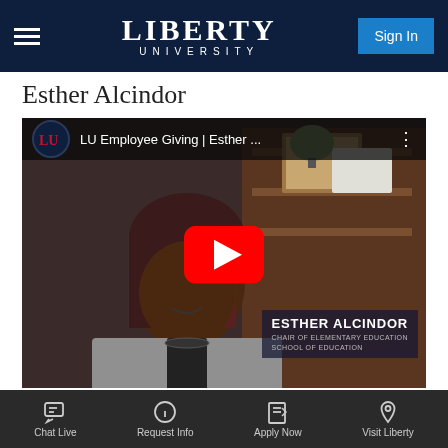LIBERTY UNIVERSITY
Esther Alcindor
[Figure (screenshot): YouTube video thumbnail showing a woman (Esther Alcindor) seated in an office environment with a play button overlay. Video title bar reads 'LU Employee Giving | Esther ...' with Liberty University logo. Name overlay reads 'ESTHER ALCINDOR, CHAIR of ELEMENTARY EDUCATION, SCHOOL of EDUCATION']
Chat Live  Request Info  Apply Now  Visit Liberty